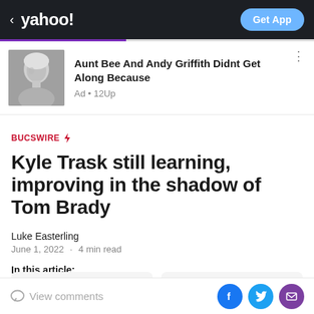< yahoo!  Get App
[Figure (photo): Black and white photo of an older woman (Aunt Bee actress)]
Aunt Bee And Andy Griffith Didnt Get Along Because
Ad • 12Up
Kyle Trask still learning, improving in the shadow of Tom Brady
Luke Easterling
June 1, 2022 · 4 min read
In this article:
Kyle Trask
Tom Brady
View comments